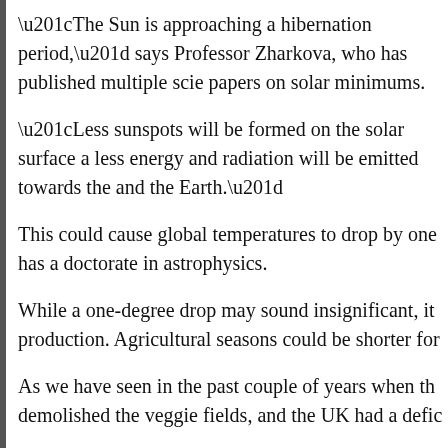“The Sun is approaching a hibernation period,” says Professor Zharkova, who has published multiple scientific papers on solar minimums.
“Less sunspots will be formed on the solar surface and less energy and radiation will be emitted towards the and the Earth.”
This could cause global temperatures to drop by one has a doctorate in astrophysics.
While a one-degree drop may sound insignificant, it production. Agricultural seasons could be shorter for
As we have seen in the past couple of years when th demolished the veggie fields, and the UK had a defic
Zharkova also pointed to recent unusual chills in Ca Solar Minimum (GSM) already taking hold.